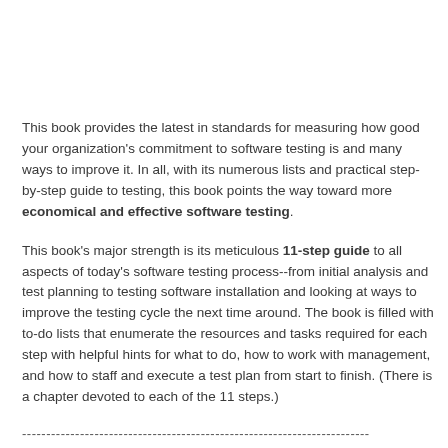This book provides the latest in standards for measuring how good your organization's commitment to software testing is and many ways to improve it. In all, with its numerous lists and practical step-by-step guide to testing, this book points the way toward more economical and effective software testing.
This book's major strength is its meticulous 11-step guide to all aspects of today's software testing process--from initial analysis and test planning to testing software installation and looking at ways to improve the testing cycle the next time around. The book is filled with to-do lists that enumerate the resources and tasks required for each step with helpful hints for what to do, how to work with management, and how to staff and execute a test plan from start to finish. (There is a chapter devoted to each of the 11 steps.)
------------------------------------------------------------------------